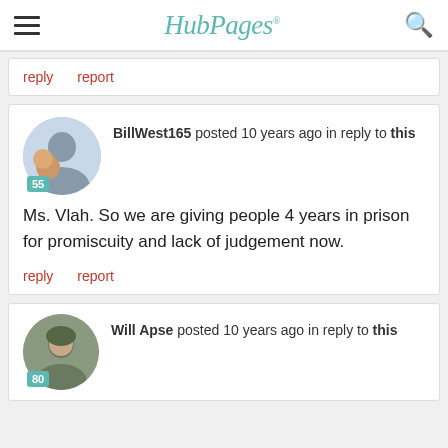HubPages
reply   report
BillWest165 posted 10 years ago in reply to this

Ms. Vlah. So we are giving people 4 years in prison for promiscuity and lack of judgement now.

reply   report
Will Apse posted 10 years ago in reply to this